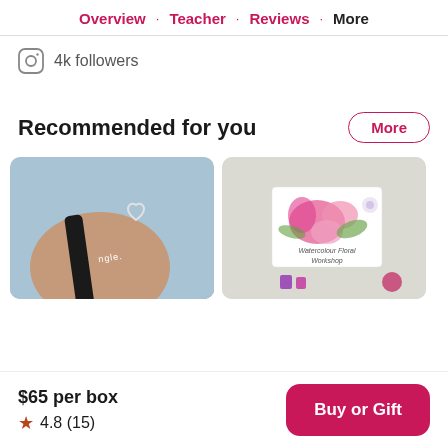Overview · Teacher · Reviews · More
4k followers
Recommended for you
[Figure (photo): Hand holding a dark bracelet with a heart charm, text 'ngle' visible on the bracelet]
[Figure (photo): Watercolour Floral Workshop promotional card with pink flowers on a textured white background]
$65 per box
★ 4.8 (15)
Buy or Gift